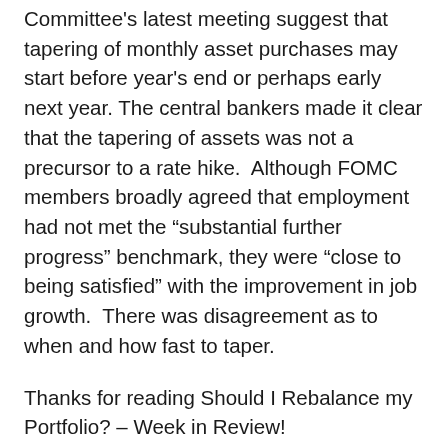Committee's latest meeting suggest that tapering of monthly asset purchases may start before year's end or perhaps early next year. The central bankers made it clear that the tapering of assets was not a precursor to a rate hike.  Although FOMC members broadly agreed that employment had not met the “substantial further progress” benchmark, they were “close to being satisfied” with the improvement in job growth.  There was disagreement as to when and how fast to taper.
Thanks for reading Should I Rebalance my Portfolio? – Week in Review!